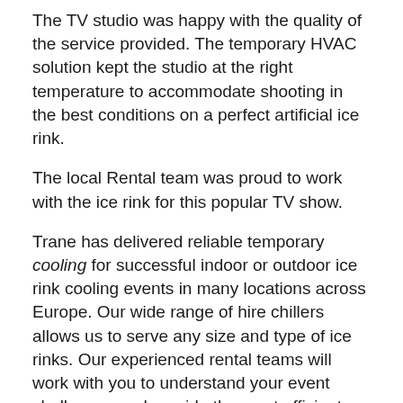The TV studio was happy with the quality of the service provided. The temporary HVAC solution kept the studio at the right temperature to accommodate shooting in the best conditions on a perfect artificial ice rink.
The local Rental team was proud to work with the ice rink for this popular TV show.
Trane has delivered reliable temporary cooling for successful indoor or outdoor ice rink cooling events in many locations across Europe. Our wide range of hire chillers allows us to serve any size and type of ice rinks. Our experienced rental teams will work with you to understand your event challenges and provide the most efficient temperature control equipment for your project.